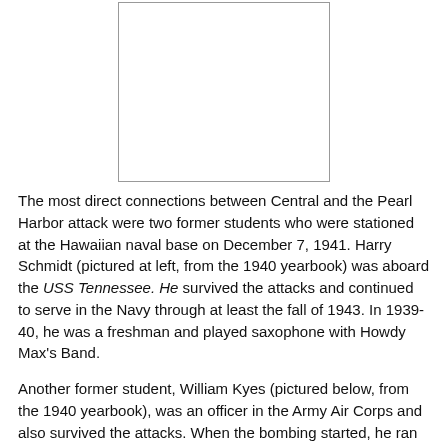[Figure (photo): Yearbook photo placeholder, rectangular white box with border]
The most direct connections between Central and the Pearl Harbor attack were two former students who were stationed at the Hawaiian naval base on December 7, 1941. Harry Schmidt (pictured at left, from the 1940 yearbook) was aboard the USS Tennessee. He survived the attacks and continued to serve in the Navy through at least the fall of 1943. In 1939-40, he was a freshman and played saxophone with Howdy Max's Band.
Another former student, William Kyes (pictured below, from the 1940 yearbook), was an officer in the Army Air Corps and also survived the attacks. When the bombing started, he ran into a nearby hangar, which was then hit. John Cumming's The First Hundred Years: A Portrait of Central Michigan University included then-Lt. Kyes account from a letter: